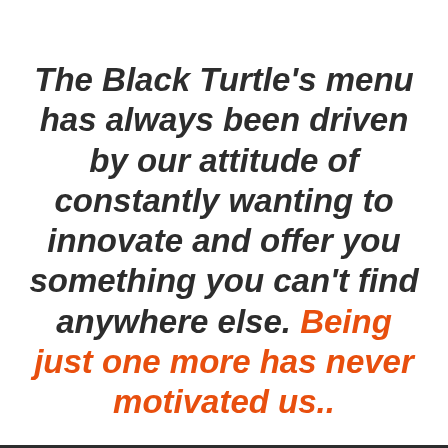The Black Turtle's menu has always been driven by our attitude of constantly wanting to innovate and offer you something you can't find anywhere else. Being just one more has never motivated us..